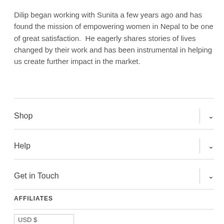Dilip began working with Sunita a few years ago and has found the mission of empowering women in Nepal to be one of great satisfaction.  He eagerly shares stories of lives changed by their work and has been instrumental in helping us create further impact in the market.
Shop
Help
Get in Touch
AFFILIATES
USD $